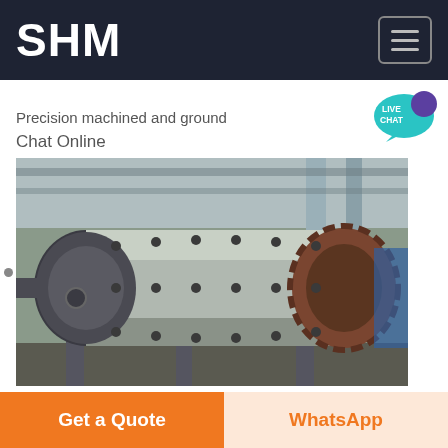SHM
Precision machined and ground
Chat Online
[Figure (photo): Large industrial ball mill machine photographed in a factory setting. The mill is a large cylindrical grey steel drum with bolt holes, mounted on supports, with a large gear ring visible on the right end. Factory ceiling and columns visible in background.]
MICRO WIND TURBINES Small Size Big Impact
Get a Quote
WhatsApp